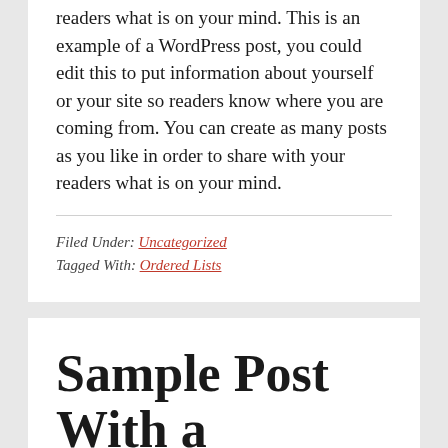readers what is on your mind. This is an example of a WordPress post, you could edit this to put information about yourself or your site so readers know where you are coming from. You can create as many posts as you like in order to share with your readers what is on your mind.
Filed Under: Uncategorized
Tagged With: Ordered Lists
Sample Post With a Blockquote